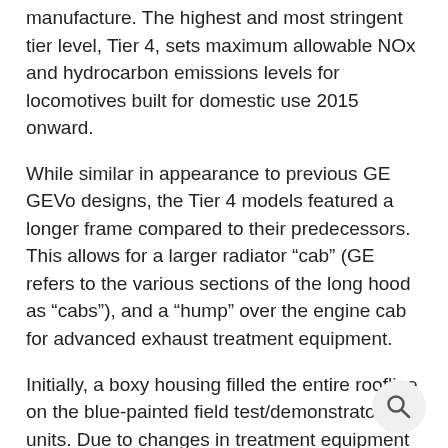manufacture. The highest and most stringent tier level, Tier 4, sets maximum allowable NOx and hydrocarbon emissions levels for locomotives built for domestic use 2015 onward.
While similar in appearance to previous GE GEVo designs, the Tier 4 models featured a longer frame compared to their predecessors. This allows for a larger radiator “cab” (GE refers to the various sections of the long hood as “cabs”), and a “hump” over the engine cab for advanced exhaust treatment equipment.
Initially, a boxy housing filled the entire roofline on the blue-painted field test/demonstrator units. Due to changes in treatment equipment and clearance issues, the “hump” would decrease in size and shape into a boxy compartment around the exhaust on initial production units. This culminated in an angled compartment surrounding the exhaust manifold on the latest production versions (2016+).